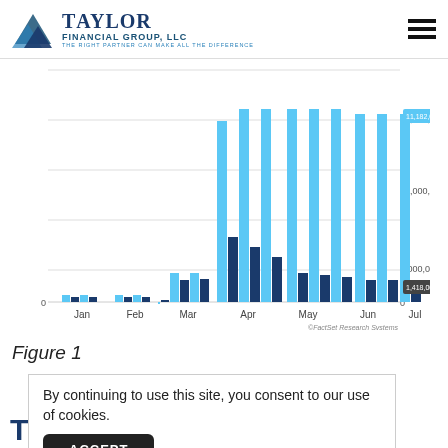Taylor Financial Group, LLC — The Right Partner Can Make All The Difference
[Figure (grouped-bar-chart): ]
Figure 1
By continuing to use this site, you consent to our use of cookies.
T